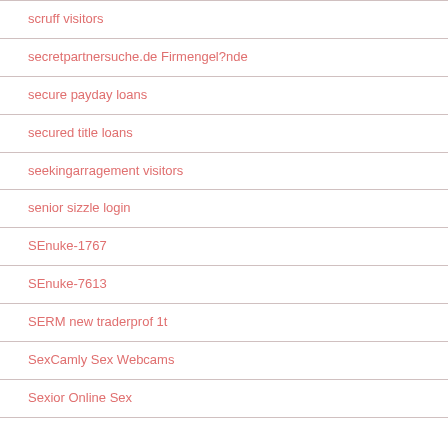scruff visitors
secretpartnersuche.de Firmengel?nde
secure payday loans
secured title loans
seekingarragement visitors
senior sizzle login
SEnuke-1767
SEnuke-7613
SERM new traderprof 1t
SexCamly Sex Webcams
Sexior Online Sex